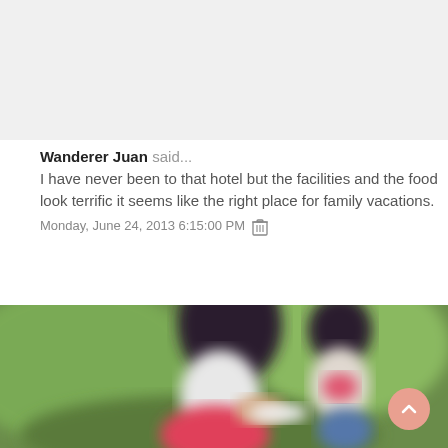[Figure (photo): Light gray blank area at top of page, likely cut-off content above]
Wanderer Juan said...
I have never been to that hotel but the facilities and the food look terrific it seems like the right place for family vacations.
Monday, June 24, 2013 6:15:00 PM 🗑
[Figure (photo): Blurred outdoor photo of a woman and a child sitting together on green grass, the woman wearing pink and a white top, child in white striped shirt]